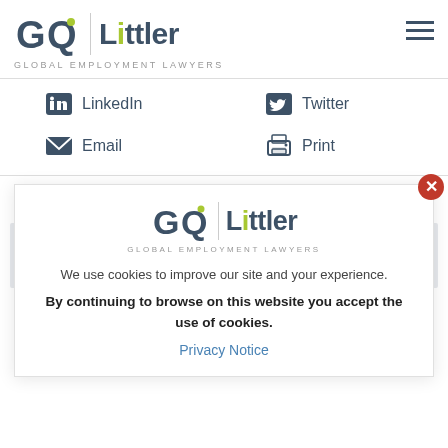[Figure (logo): GQ Littler - Global Employment Lawyers logo in header]
LinkedIn
Twitter
Email
Print
Related Articles
[Figure (logo): GQ Littler - Global Employment Lawyers logo in cookie overlay]
We use cookies to improve our site and your experience.
By continuing to browse on this website you accept the use of cookies.
Privacy Notice